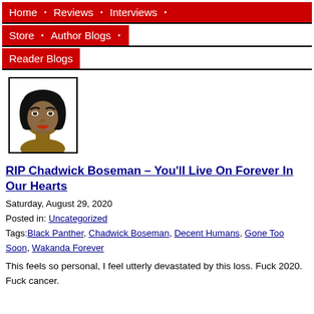Home • Reviews • Interviews • Store • Author Blogs • Reader Blogs
[Figure (illustration): Cartoon avatar of a woman with short black hair and brown skin, facing slightly left, on white background with black border]
RIP Chadwick Boseman – You'll Live On Forever In Our Hearts
Saturday, August 29, 2020
Posted in: Uncategorized
Tags: Black Panther, Chadwick Boseman, Decent Humans, Gone Too Soon, Wakanda Forever
This feels so personal, I feel utterly devastated by this loss. Fuck 2020. Fuck cancer.